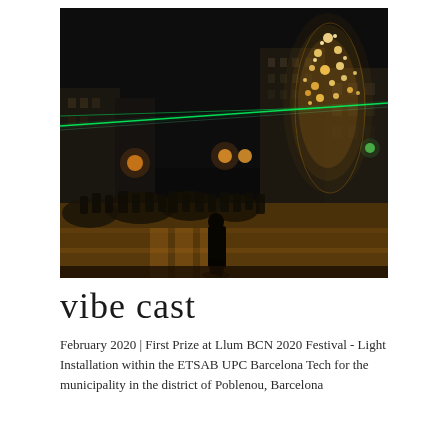[Figure (photo): Night-time street scene showing a crowd of people on a city street. A large illuminated tree structure glowing with warm yellow/gold lights is visible on the right side. Green laser beams cut across the dark sky horizontally. Street lights and urban buildings are visible in the background. People are gathered and one silhouetted figure crosses the street in the foreground.]
vibe cast
February 2020 | First Prize at Llum BCN 2020 Festival - Light Installation within the ETSAB UPC Barcelona Tech for the municipality in the district of Poblenou, Barcelona